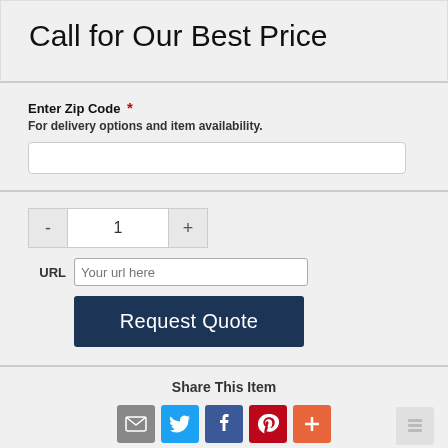Call for Our Best Price
Enter Zip Code * For delivery options and item availability.
- 1 +
URL  Your url here
Request Quote
Share This Item